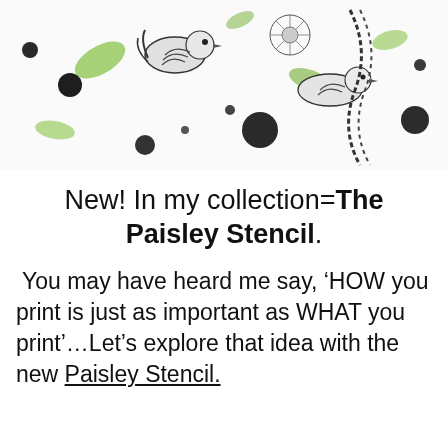[Figure (photo): Close-up photo of a decorative fabric or paper with black and white paisley/floral/bird patterns and green leaf accents on a white background.]
New! In my collection=The Paisley Stencil.
You may have heard me say, ‘HOW you print is just as important as WHAT you print’…Let’s explore that idea with the new Paisley Stencil.